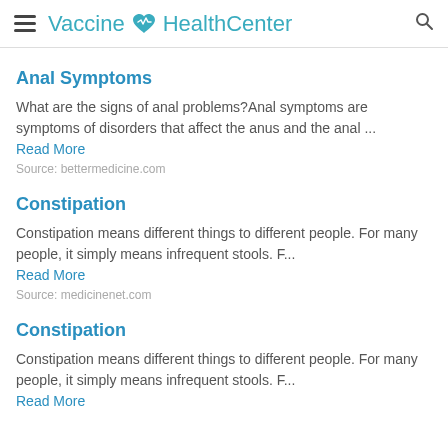Vaccine HealthCenter
Anal Symptoms
What are the signs of anal problems?Anal symptoms are symptoms of disorders that affect the anus and the anal ... Read More
Source: bettermedicine.com
Constipation
Constipation means different things to different people. For many people, it simply means infrequent stools. F... Read More
Source: medicinenet.com
Constipation
Constipation means different things to different people. For many people, it simply means infrequent stools. F... Read More